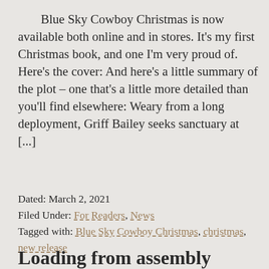Blue Sky Cowboy Christmas is now available both online and in stores. It's my first Christmas book, and one I'm very proud of. Here's the cover: And here's a little summary of the plot – one that's a little more detailed than you'll find elsewhere: Weary from a long deployment, Griff Bailey seeks sanctuary at [...]
Dated: March 2, 2021
Filed Under: For Readers, News
Tagged with: Blue Sky Cowboy Christmas, christmas, new release